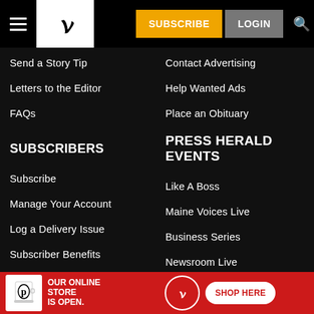Press Herald navigation header with hamburger menu, logo, SUBSCRIBE, LOGIN, and search icon
Send a Story Tip
Contact Advertising
Letters to the Editor
Help Wanted Ads
FAQs
Place an Obituary
SUBSCRIBERS
PRESS HERALD EVENTS
Subscribe
Like A Boss
Manage Your Account
Maine Voices Live
Log a Delivery Issue
Business Series
Subscriber Benefits
Newsroom Live
ePapers
Source Maine Sustainability
Mobile Apps
[Figure (infographic): Red banner advertisement: mug with P logo, text OUR ONLINE STORE IS OPEN., circle P logo, SHOP HERE button]